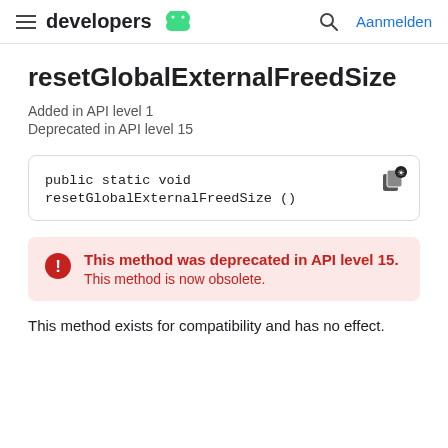developers | Aanmelden
resetGlobalExternalFreedSize
Added in API level 1
Deprecated in API level 15
public static void resetGlobalExternalFreedSize ()
This method was deprecated in API level 15. This method is now obsolete.
This method exists for compatibility and has no effect.